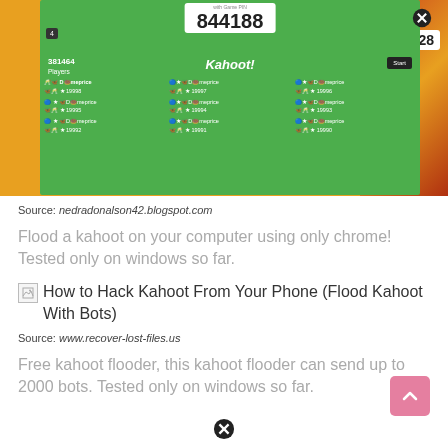[Figure (screenshot): Screenshot of a Kahoot! game with game PIN 844188, showing 381464 players, player names and scores including D-meprice entries with scores like 19998, 19997, 19996, 19995, 19994, 19993, 19992, 19991, 19990. Green interface with Start button. Counter showing 28. Right side shows a decorative image with a gauntlet.]
Source: nedradonalson42.blogspot.com
Flood a kahoot on your computer using only chrome! Tested only on windows so far.
[Figure (screenshot): Broken image placeholder for: How to Hack Kahoot From Your Phone (Flood Kahoot With Bots)]
Source: www.recover-lost-files.us
Free kahoot flooder, this kahoot flooder can send up to 2000 bots. Tested only on windows so far.